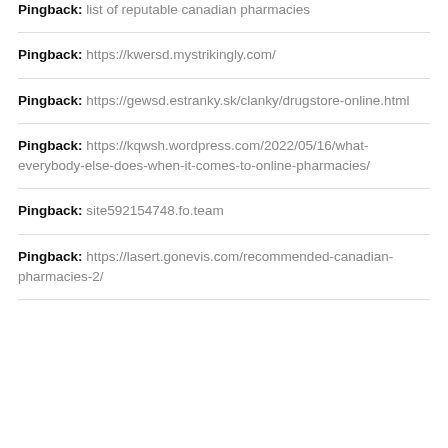Pingback: list of reputable canadian pharmacies
Pingback: https://kwersd.mystrikingly.com/
Pingback: https://gewsd.estranky.sk/clanky/drugstore-online.html
Pingback: https://kqwsh.wordpress.com/2022/05/16/what-everybody-else-does-when-it-comes-to-online-pharmacies/
Pingback: site592154748.fo.team
Pingback: https://lasert.gonevis.com/recommended-canadian-pharmacies-2/